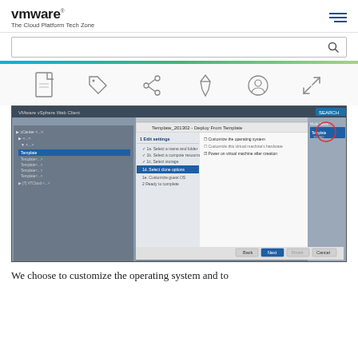vmware The Cloud Platform Tech Zone
[Figure (screenshot): VMware vSphere Web Client screenshot showing Deploy from Template dialog with Edit settings steps including Select clone options highlighted, with various checkboxes for customizing operating system]
We choose to customize the operating system and to